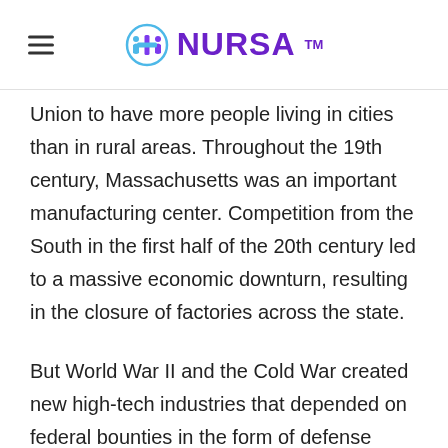NURSA™
Union to have more people living in cities than in rural areas. Throughout the 19th century, Massachusetts was an important manufacturing center. Competition from the South in the first half of the 20th century led to a massive economic downturn, resulting in the closure of factories across the state.
But World War II and the Cold War created new high-tech industries that depended on federal bounties in the form of defense spending. At the